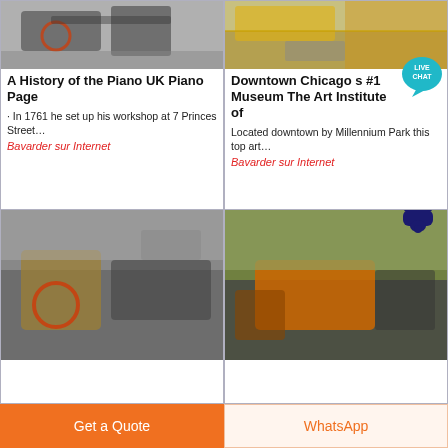[Figure (photo): Industrial machinery / conveyor equipment photo, top left card]
A History of the Piano UK Piano Page
· In 1761 he set up his workshop at 7 Princes Street…
Bavarder sur Internet
[Figure (photo): Mining/quarry machinery with yellow equipment, top right card]
[Figure (illustration): Live Chat speech bubble icon in teal/cyan]
Downtown Chicago s #1 Museum The Art Institute of
Located downtown by Millennium Park this top art…
Bavarder sur Internet
[Figure (photo): Mining/crushing machinery, bottom left card]
[Figure (photo): Orange heavy mining equipment, bottom right card]
[Figure (illustration): Dark blue alien/notification bell emoji icon]
Get a Quote
WhatsApp